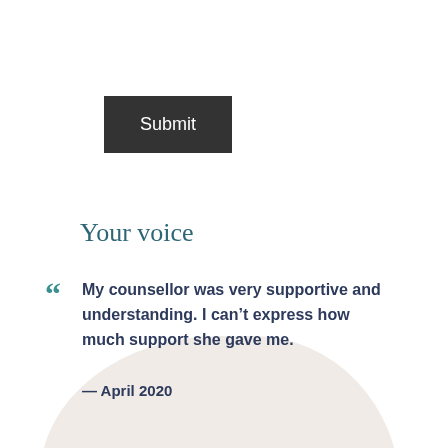[Figure (illustration): Dark grey button labeled Submit in the top left area of the page]
Submit
[Figure (illustration): Large pale beige blob shape in the lower portion of the page, with a smaller oval blob shape in the upper right area]
Your voice
“ My counsellor was very supportive and understanding. I can’t express how much support she gave me.
— April 2020